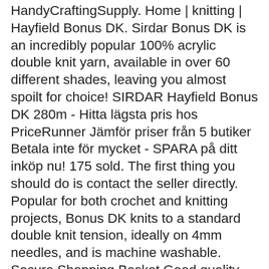HandyCraftingSupply. Home | knitting | Hayfield Bonus DK. Sirdar Bonus DK is an incredibly popular 100% acrylic double knit yarn, available in over 60 different shades, leaving you almost spoilt for choice! SIRDAR Hayfield Bonus DK 280m - Hitta lägsta pris hos PriceRunner Jämför priser från 5 butiker Betala inte för mycket - SPARA på ditt inköp nu! 175 sold. The first thing you should do is contact the seller directly. Popular for both crochet and knitting projects, Bonus DK knits to a standard double knit tension, ideally on 4mm needles, and is machine washable. Secure Shopping Basket Good quality acrylic yarn from Sirdar. Great! Hayfield Yarns are renown for their Baby Bonus and Bonus Ranges which include the Bonus DK, Bonus Super Chunky and Baby Bonus DK/4ply yarns. Please. Ball Weight: 100g Per Ball. Bonus DK is available in a huge range of colours from subtle pastel shades to vibrant neon's, making it suitable for all kinds of projects and fun designs. Hayfield Bonus DK is real value for money yarn, made from 100% Acrylic. Hayfield - Bonus DK Hayfield - With Wool Aran Hayfield Bonus - Extravaganza Jumper Putto Madly Chunky Jumper & Putto